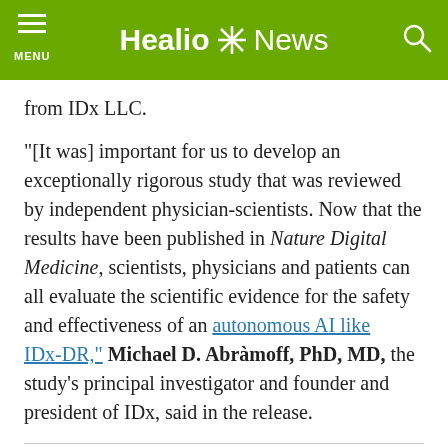Healio News
from IDx LLC.
“[It was] important for us to develop an exceptionally rigorous study that was reviewed by independent physician-scientists. Now that the results have been published in Nature Digital Medicine, scientists, physicians and patients can all evaluate the scientific evidence for the safety and effectiveness of an autonomous AI like IDx-DR,” Michael D. Abràmoff, PhD, MD, the study’s principal investigator and founder and president of IDx, said in the release.
Read next